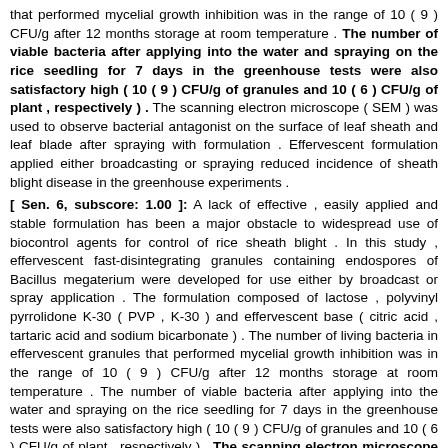that performed mycelial growth inhibition was in the range of 10 ( 9 ) CFU/g after 12 months storage at room temperature . The number of viable bacteria after applying into the water and spraying on the rice seedling for 7 days in the greenhouse tests were also satisfactory high ( 10 ( 9 ) CFU/g of granules and 10 ( 6 ) CFU/g of plant , respectively ) . The scanning electron microscope ( SEM ) was used to observe bacterial antagonist on the surface of leaf sheath and leaf blade after spraying with formulation . Effervescent formulation applied either broadcasting or spraying reduced incidence of sheath blight disease in the greenhouse experiments .
[ Sen. 6, subscore: 1.00 ]: A lack of effective , easily applied and stable formulation has been a major obstacle to widespread use of biocontrol agents for control of rice sheath blight . In this study , effervescent fast-disintegrating granules containing endospores of Bacillus megaterium were developed for use either by broadcast or spray application . The formulation composed of lactose , polyvinyl pyrrolidone K-30 ( PVP , K-30 ) and effervescent base ( citric acid , tartaric acid and sodium bicarbonate ) . The number of living bacteria in effervescent granules that performed mycelial growth inhibition was in the range of 10 ( 9 ) CFU/g after 12 months storage at room temperature . The number of viable bacteria after applying into the water and spraying on the rice seedling for 7 days in the greenhouse tests were also satisfactory high ( 10 ( 9 ) CFU/g of granules and 10 ( 6 ) CFU/g of plant , respectively ) . The scanning electron microscope ( SEM ) was used to observe bacterial antagonist on the surface of leaf sheath and leaf blade after spraying with formulation . Effervescent formulation applied either broadcasting or spraying reduced incidence of sheath blight disease in the greenhouse experiments .
[ Sen. 7, subscore: 1.00 ]: A lack of effective , easily applied and stable formulation has been a major obstacle to widespread use of biocontrol